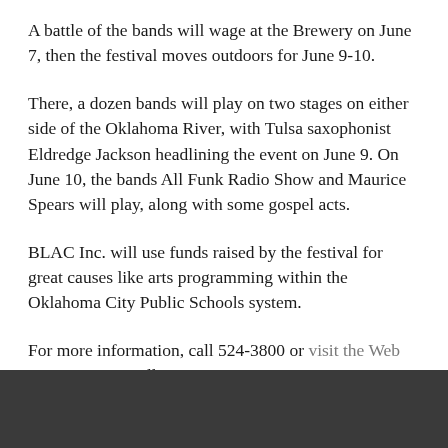A battle of the bands will wage at the Brewery on June 7, then the festival moves outdoors for June 9-10.
There, a dozen bands will play on two stages on either side of the Oklahoma River, with Tulsa saxophonist Eldredge Jackson headlining the event on June 9. On June 10, the bands All Funk Radio Show and Maurice Spears will play, along with some gospel acts.
BLAC Inc. will use funds raised by the festival for great causes like arts programming within the Oklahoma City Public Schools system.
For more information, call 524-3800 or visit the Web site . "Lisa Spinelli